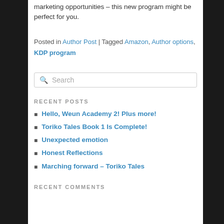marketing opportunities – this new program might be perfect for you.
Posted in Author Post | Tagged Amazon, Author options, KDP program
Search
RECENT POSTS
Hello, Weun Academy 2! Plus more!
Toriko Tales Book 1 Is Complete!
Unexpected emotion
Honest Reflections
Marching forward – Toriko Tales
RECENT COMMENTS